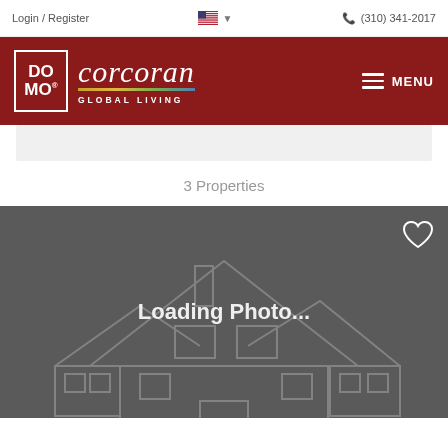Login / Register  (310) 341-2017
[Figure (logo): DOMO Corcoran Global Living logo on dark red background with MENU button]
[Figure (screenshot): Gray search bar area]
3 Properties
[Figure (photo): Property listing image placeholder showing Loading Photo... text over a house outline graphic on gray background with a heart/favorite icon]